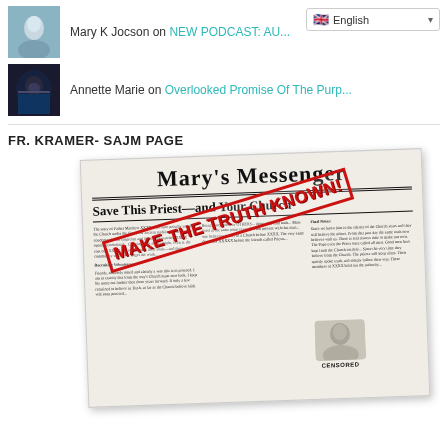Mary K Jocson on NEW PODCAST: AU...
Annette Marie on Overlooked Promise Of The Purp...
FR. KRAMER- SAJM PAGE
[Figure (photo): Newspaper front page titled Mary's Messenger with headline 'Save This Priest—and Your Church' overlaid with red stamp text 'MAKE THE TRUTH KNOWN!' and a photo of a person stamped CENSORED]